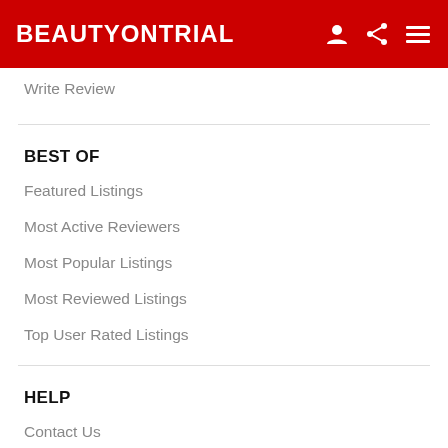BEAUTYONTRIAL
Write Review
BEST OF
Featured Listings
Most Active Reviewers
Most Popular Listings
Most Reviewed Listings
Top User Rated Listings
HELP
Contact Us
FAQs
Search Blogs
Search Forums
Search Members
Search Products